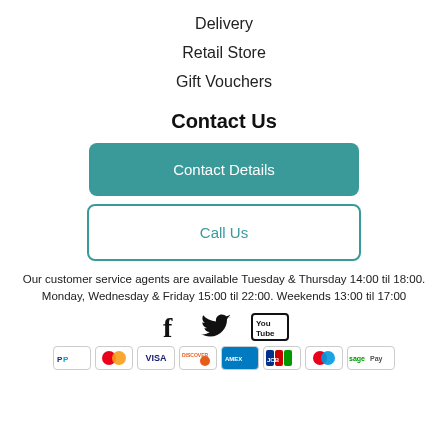Delivery
Retail Store
Gift Vouchers
Contact Us
Contact Details
Call Us
Our customer service agents are available Tuesday & Thursday 14:00 til 18:00. Monday, Wednesday & Friday 15:00 til 22:00. Weekends 13:00 til 17:00
[Figure (infographic): Social media icons: Facebook, Twitter, YouTube]
[Figure (infographic): Payment method logos: PayPal, Mastercard, Visa, Discover, American Express, JCB, Maestro, Sage Pay]